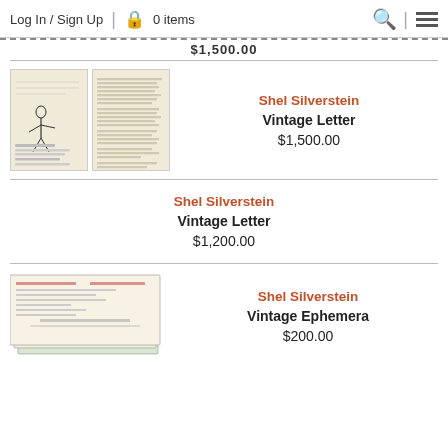Log In / Sign Up | 🔒 0 items
$1,500.00 (partial, dashed bar)
[Figure (photo): Two pages of a vintage handwritten/typed letter with drawings, attributed to Shel Silverstein]
Shel Silverstein
Vintage Letter
$1,500.00
Shel Silverstein
Vintage Letter
$1,200.00
[Figure (photo): Stack of vintage ephemera documents/checks attributed to Shel Silverstein]
Shel Silverstein
Vintage Ephemera
$200.00